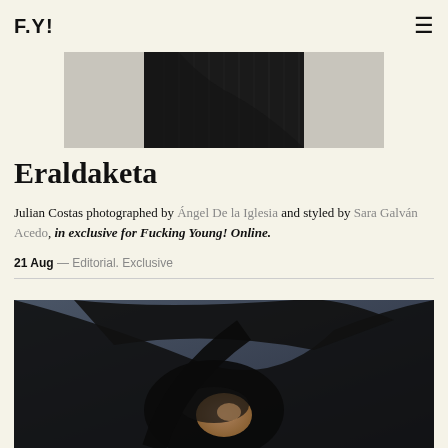F.Y!
[Figure (photo): Partial view of a model wearing a dark pinstripe outfit, upper body cropped at the top of the page]
Eraldaketa
Julian Costas photographed by Ángel De la Iglesia and styled by Sara Galván Acedo, in exclusive for Fucking Young! Online.
21 Aug — Editorial. Exclusive
[Figure (photo): A model in a black outfit bending dramatically backward with a wide-brimmed hat, photographed against a dark blue-grey background]